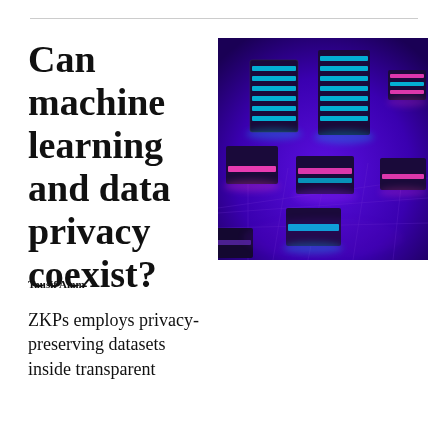Can machine learning and data privacy coexist?
[Figure (photo): 3D rendered illustration of glowing neon cubes arranged in a grid pattern on a dark purple/blue background, with pink and cyan/blue light accents on the cube edges, creating a digital data or blockchain-themed visual.]
Tausif Alam
ZKPs employs privacy-preserving datasets inside transparent